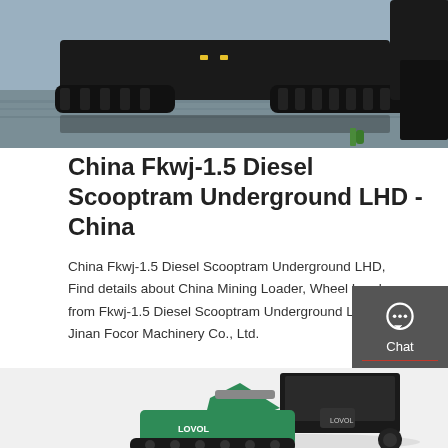[Figure (photo): Aerial/low-angle photo of a diesel scooptram underground LHD machine on wet concrete, dark tracked undercarriage visible]
China Fkwj-1.5 Diesel Scooptram Underground LHD - China
China Fkwj-1.5 Diesel Scooptram Underground LHD, Find details about China Mining Loader, Wheel Loader from Fkwj-1.5 Diesel Scooptram Underground LHD - Jinan Focor Machinery Co., Ltd.
Get a quote
[Figure (photo): Green and black compact LOVOL mini excavator, bottom portion visible showing cab and arm]